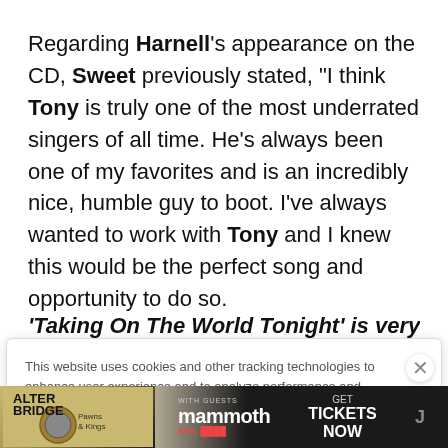Regarding Harnell's appearance on the CD, Sweet previously stated, "I think Tony is truly one of the most underrated singers of all time. He's always been one of my favorites and is an incredibly nice, humble guy to boot. I've always wanted to work with Tony and I knew this would be the perfect song and opportunity to do so. 'Taking On The World Tonight' is very heavy with
This website uses cookies and other tracking technologies to enhance user experience and to analyze performance and traffic on our website. Information about your use of our site may also be shared with social media, advertising, retail and analytics providers and partners. Privacy Policy
[Figure (other): Advertisement banner for Alter Bridge Pawns & Kings concert with Mammoth WVL, promoting Get Tickets Now]